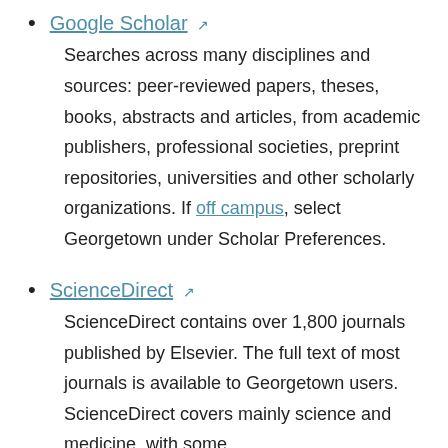Google Scholar ↗
Searches across many disciplines and sources: peer-reviewed papers, theses, books, abstracts and articles, from academic publishers, professional societies, preprint repositories, universities and other scholarly organizations. If off campus, select Georgetown under Scholar Preferences.
ScienceDirect ↗
ScienceDirect contains over 1,800 journals published by Elsevier. The full text of most journals is available to Georgetown users. ScienceDirect covers mainly science and medicine, with some